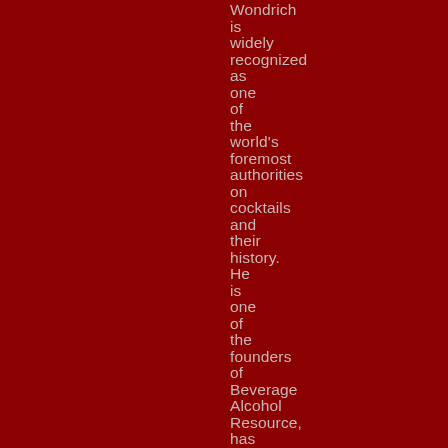Wondrich is widely recognized as one of the world's foremost authorities on cocktails and their history. He is one of the founders of Beverage Alcohol Resource, has worked with the